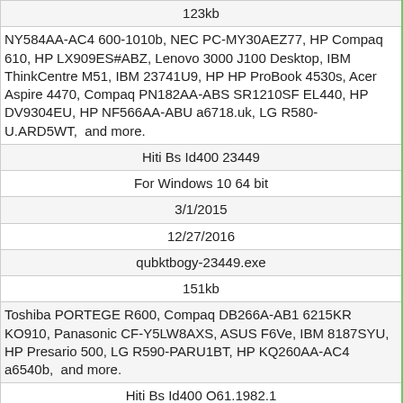| 123kb |
| NY584AA-AC4 600-1010b, NEC PC-MY30AEZ77, HP Compaq 610, HP LX909ES#ABZ, Lenovo 3000 J100 Desktop, IBM ThinkCentre M51, IBM 23741U9, HP HP ProBook 4530s, Acer Aspire 4470, Compaq PN182AA-ABS SR1210SF EL440, HP DV9304EU, HP NF566AA-ABU a6718.uk, LG R580-U.ARD5WT,  and more. |
| Hiti Bs Id400 23449 |
| For Windows 10 64 bit |
| 3/1/2015 |
| 12/27/2016 |
| qubktbogy-23449.exe |
| 151kb |
| Toshiba PORTEGE R600, Compaq DB266A-AB1 6215KR KO910, Panasonic CF-Y5LW8AXS, ASUS F6Ve, IBM 8187SYU, HP Presario 500, LG R590-PARU1BT, HP KQ260AA-AC4 a6540b,  and more. |
| Hiti Bs Id400 O61.1982.1 |
| For Windows 8 |
| 9/13/2014 |
| 12/27/2016 |
| all_drivers-o61.1982.1.exe |
| 66kb |
| NEC PC-LL700RS6R, ASUS U6Vc, Acer Aspire 8730G, Toshiba |